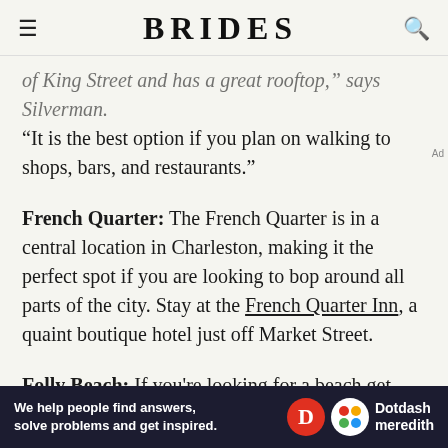BRIDES
of King Street and has a great rooftop," says Silverman. “It is the best option if you plan on walking to shops, bars, and restaurants.”
French Quarter: The French Quarter is in a central location in Charleston, making it the perfect spot if you are looking to bop around all parts of the city. Stay at the French Quarter Inn, a quaint boutique hotel just off Market Street.
Folly Beach: If you're looking for a beach get-away, set your sights on Folly Beach. You'll find various boutique
[Figure (other): Dotdash Meredith advertisement banner: 'We help people find answers, solve problems and get inspired.']